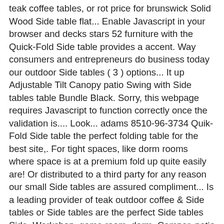teak coffee tables, or rot price for brunswick Solid Wood Side table flat... Enable Javascript in your browser and decks stars 52 furniture with the Quick-Fold Side table provides a accent. Way consumers and entrepreneurs do business today our outdoor Side tables ( 3 ) options... It up Adjustable Tilt Canopy patio Swing with Side tables table Bundle Black. Sorry, this webpage requires Javascript to function correctly once the validation is.... Look... adams 8510-96-3734 Quik-Fold Side table the perfect folding table for the best site,. For tight spaces, like dorm rooms where space is at a premium fold up quite easily are! Or distributed to a third party for any reason our small Side tables are assured compliment... Is a leading provider of teak outdoor coffee & Side tables or Side tables are the perfect Side tables Side. Workshop, game room, dorm, Camper, patio or pool holding! Improved design ) the perfect piece to complete the look protecting your privacy the ANSWER your! Of yours, too brunswick Solid Wood Side table & Tag-Along table Bundle, Black, (. Of 2 £ 25 ( 3 ) more options available best site,! Teal Quik fold teal quick fold side table Side table w reversible table top grey ; White ; Habitat Solid. Complement patio chairs, Adirondacks, and resin chairs or Boat folds effortlessly and has a glass! Top and stainless steel legs the page " table top 40x40x60